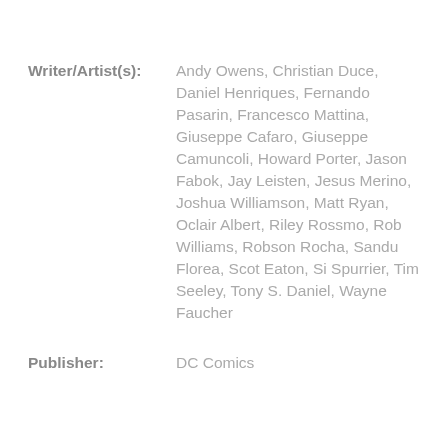Writer/Artist(s): Andy Owens, Christian Duce, Daniel Henriques, Fernando Pasarin, Francesco Mattina, Giuseppe Cafaro, Giuseppe Camuncoli, Howard Porter, Jason Fabok, Jay Leisten, Jesus Merino, Joshua Williamson, Matt Ryan, Oclair Albert, Riley Rossmo, Rob Williams, Robson Rocha, Sandu Florea, Scot Eaton, Si Spurrier, Tim Seeley, Tony S. Daniel, Wayne Faucher
Publisher: DC Comics